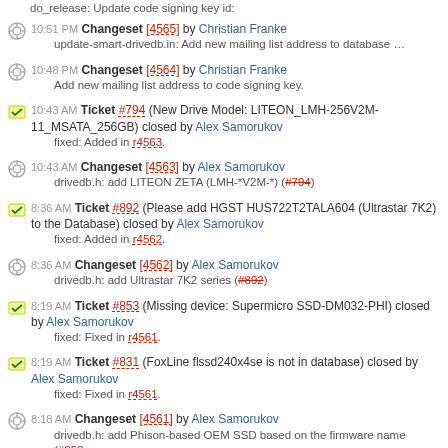do_release: Update code signing key id:
10:51 PM Changeset [4565] by Christian Franke — update-smart-drivedb.in: Add new mailing list address to database …
10:48 PM Changeset [4564] by Christian Franke — Add new mailing list address to code signing key.
10:43 AM Ticket #794 (New Drive Model: LITEON_LMH-256V2M-11_MSATA_256GB) closed by Alex Samorukov — fixed: Added in r4563.
10:43 AM Changeset [4563] by Alex Samorukov — drivedb.h: add LITEON ZETA (LMH-*V2M-*) (#794)
8:36 AM Ticket #892 (Please add HGST HUS722T2TALA604 (Ultrastar 7K2) to the Database) closed by Alex Samorukov — fixed: Added in r4562.
8:36 AM Changeset [4562] by Alex Samorukov — drivedb.h: add Ultrastar 7K2 series (#892)
8:19 AM Ticket #853 (Missing device: Supermicro SSD-DM032-PHI) closed by Alex Samorukov — fixed: Fixed in r4561.
8:19 AM Ticket #831 (FoxLine flssd240x4se is not in database) closed by Alex Samorukov — fixed: Fixed in r4561.
8:18 AM Changeset [4561] by Alex Samorukov — drivedb.h: add Phison-based OEM SSD based on the firmware name (#853…